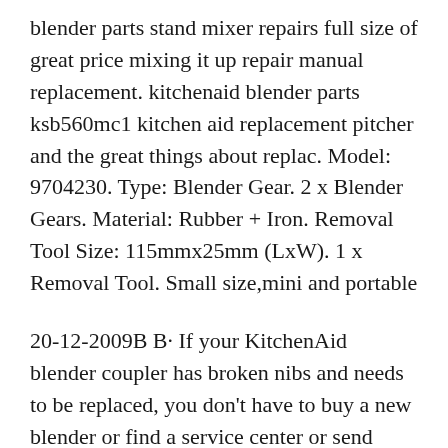blender parts stand mixer repairs full size of great price mixing it up repair manual replacement. kitchenaid blender parts ksb560mc1 kitchen aid replacement pitcher and the great things about replac. Model: 9704230. Type: Blender Gear. 2 x Blender Gears. Material: Rubber + Iron. Removal Tool Size: 115mmx25mm (LxW). 1 x Removal Tool. Small size,mini and portable
20-12-2009B B· If your KitchenAid blender coupler has broken nibs and needs to be replaced, you don't have to buy a new blender or find a service center or send your blender back to KitchenAid for a repair - you Posted by JOHN WITMER on 15th Jan 2020 The old coupling was